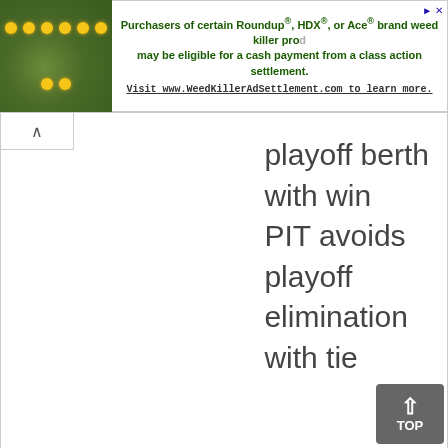[Figure (other): Advertisement banner: image of flowers/plants on left, text on right: 'Purchasers of certain Roundup®, HDX®, or Ace® brand weed killer products may be eligible for a cash payment from a class action settlement. Visit www.WeedKillerAdSettlement.com to learn more.']
playoff berth with win
PIT avoids playoff elimination with tie
[*]Replay of final play upheld↵
[†]Highest number of points that can be scored in overtime↵
[‡]Highest scoring tie game in NFL history↵
[§]No impact on seeds, as CAR clinched #1 seed by 2 games↵
[‖]Lowest scoring tie game in NFL history 11/5/72 (PHI-STLCards, 6-6) and the low